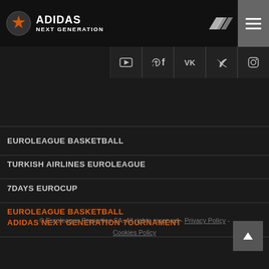ADIDAS NEXT GENERATION
EUROLEAGUE BASKETBALL
TURKISH AIRLINES EUROLEAGUE
7DAYS EUROCUP
EUROLEAGUE BASKETBALL ADIDAS NEXT GENERATION TOURNAMENT
ONE TEAM
EB INSTITUTE
© Euroleague Properties SA. All rights reserved - Privacy Policy - Cookies Policy